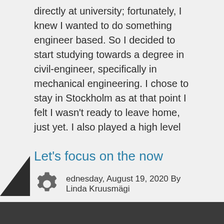directly at university; fortunately, I knew I wanted to do something engineer based. So I decided to start studying towards a degree in civil-engineer, specifically in mechanical engineering. I chose to stay in Stockholm as at that point I felt I wasn't ready to leave home, just yet. I also played a high level of football and did not want to leave my team, so I began studying at KTH during the autumn of 2019.
I am now on my third year, and currently
Read more
Let's focus on the now
Wednesday, August 19, 2020 By Linda Kruusmägi